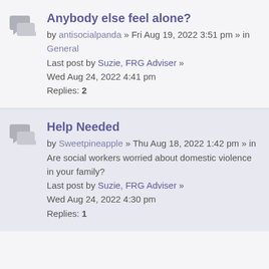Anybody else feel alone?
by antisocialpanda » Fri Aug 19, 2022 3:51 pm » in General
Last post by Suzie, FRG Adviser »
Wed Aug 24, 2022 4:41 pm
Replies: 2
Help Needed
by Sweetpineapple » Thu Aug 18, 2022 1:42 pm » in
Are social workers worried about domestic violence in your family?
Last post by Suzie, FRG Adviser »
Wed Aug 24, 2022 4:30 pm
Replies: 1